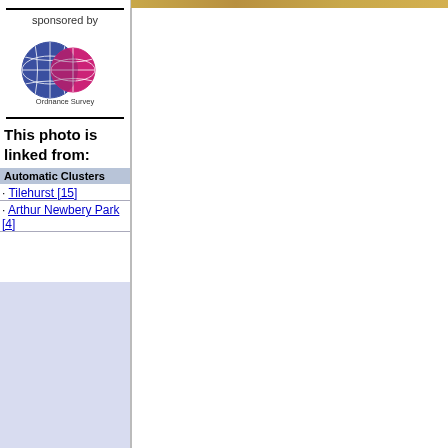[Figure (photo): Partial view of top strip showing tan/brown earthy background]
sponsored by
[Figure (logo): Ordnance Survey logo with two overlapping circles, one blue with globe/map markings, one pink/magenta with map markings, and text 'Ordnance Survey' below]
This photo is linked from:
Automatic Clusters
· Tilehurst [15]
· Arthur Newbery Park [4]